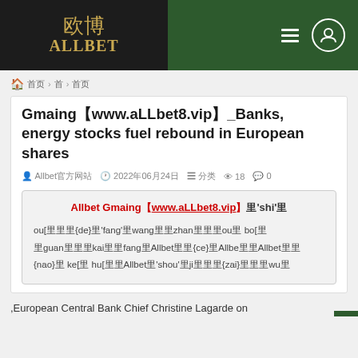欧博ALLBET
🏠 首页 > 首页 > 首页
Gmaing【www.aLLbet8.vip】_Banks, energy stocks fuel rebound in European shares
Allbet官方网站 2022年06月24日 分类 18 0
Allbet Gmaing【www.aLLbet8.vip】里'shi'ou[里里里{de}里'fang'里wang里里zhan里里里ou里 bo[里guan里里里kai里里fang里Allbet里里{ce}里Allbe里里Allbet里里{nao}里 ke[里 hu[里里Allbet里'shou'里ji里里里{zai}里里里wu里
,European Central Bank Chief Christine Lagarde on